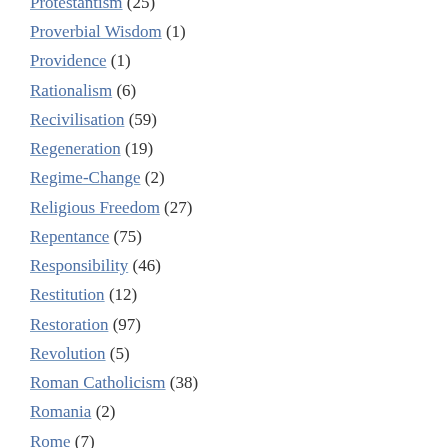Protestantism (25)
Proverbial Wisdom (1)
Providence (1)
Rationalism (6)
Recivilisation (59)
Regeneration (19)
Regime-Change (2)
Religious Freedom (27)
Repentance (75)
Responsibility (46)
Restitution (12)
Restoration (97)
Revolution (5)
Roman Catholicism (38)
Romania (2)
Rome (7)
Roots (3)
Royal Martyrs (2)
Rue Daru (38)